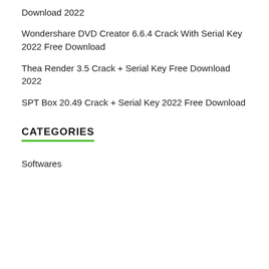Download 2022
Wondershare DVD Creator 6.6.4 Crack With Serial Key 2022 Free Download
Thea Render 3.5 Crack + Serial Key Free Download 2022
SPT Box 20.49 Crack + Serial Key 2022 Free Download
CATEGORIES
Softwares